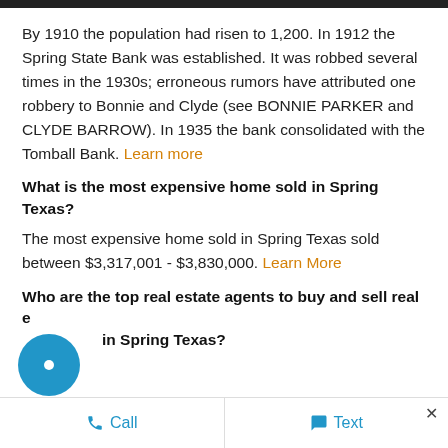By 1910 the population had risen to 1,200. In 1912 the Spring State Bank was established. It was robbed several times in the 1930s; erroneous rumors have attributed one robbery to Bonnie and Clyde (see BONNIE PARKER and CLYDE BARROW). In 1935 the bank consolidated with the Tomball Bank. Learn more
What is the most expensive home sold in Spring Texas?
The most expensive home sold in Spring Texas sold between $3,317,001 - $3,830,000. Learn More
Who are the top real estate agents to buy and sell real estate in Spring Texas?
Call   Text   ×